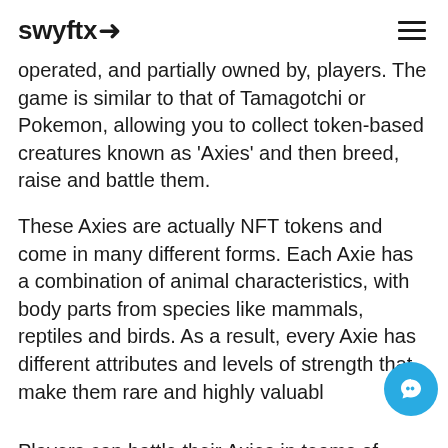swyftx
operated, and partially owned by, players. The game is similar to that of Tamagotchi or Pokemon, allowing you to collect token-based creatures known as 'Axies' and then breed, raise and battle them.
These Axies are actually NFT tokens and come in many different forms. Each Axie has a combination of animal characteristics, with body parts from species like mammals, reptiles and birds. As a result, every Axie has different attributes and levels of strength that make them rare and highly valuabl
Players can battle their Axies in teams of